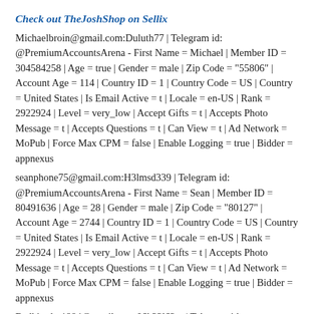Check out TheJoshShop on Sellix
Michaelbroin@gmail.com:Duluth77 | Telegram id: @PremiumAccountsArena - First Name = Michael | Member ID = 304584258 | Age = true | Gender = male | Zip Code = "55806" | Account Age = 114 | Country ID = 1 | Country Code = US | Country = United States | Is Email Active = t | Locale = en-US | Rank = 2922924 | Level = very_low | Accept Gifts = t | Accepts Photo Message = t | Accepts Questions = t | Can View = t | Ad Network = MoPub | Force Max CPM = false | Enable Logging = true | Bidder = appnexus
seanphone75@gmail.com:H3lmsd339 | Telegram id: @PremiumAccountsArena - First Name = Sean | Member ID = 80491636 | Age = 28 | Gender = male | Zip Code = "80127" | Account Age = 2744 | Country ID = 1 | Country Code = US | Country = United States | Is Email Active = t | Locale = en-US | Rank = 2922924 | Level = very_low | Accept Gifts = t | Accepts Photo Message = t | Accepts Questions = t | Can View = t | Ad Network = MoPub | Force Max CPM = false | Enable Logging = true | Bidder = appnexus
Badkittylvt1984@gmail.com:06k22l62m | Telegram id: @PremiumAccountsArena - First Name = Karen | Member ID =